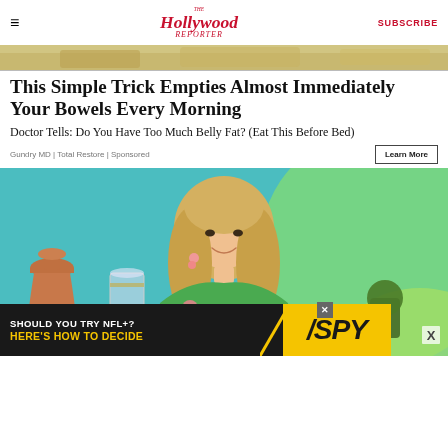The Hollywood Reporter | SUBSCRIBE
[Figure (photo): Top cropped food/bread image strip]
This Simple Trick Empties Almost Immediately Your Bowels Every Morning
Doctor Tells: Do You Have Too Much Belly Fat? (Eat This Before Bed)
Gundry MD | Total Restore | Sponsored
[Figure (photo): Woman with blonde hair wearing green floral dress seated on set with teal/green background and decorative vases]
[Figure (photo): SHOULD YOU TRY NFL+? HERE'S HOW TO DECIDE - SPY advertisement banner]